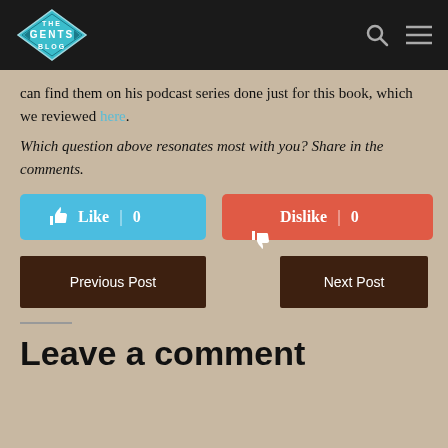THE GENTS BLOG
can find them on his podcast series done just for this book, which we reviewed here.
Which question above resonates most with you?  Share in the comments.
[Figure (other): Like button (blue) showing count 0, and Dislike button (red/orange) showing count 0]
[Figure (other): Previous Post and Next Post navigation buttons (dark brown)]
Leave a comment